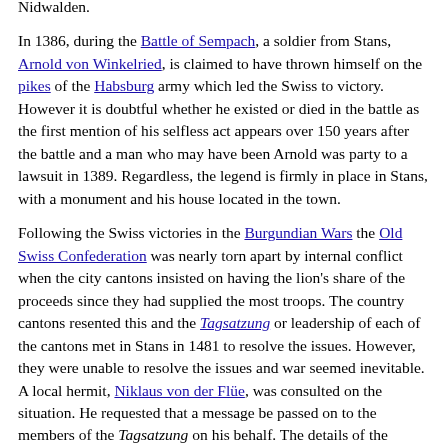Nidwalden.
In 1386, during the Battle of Sempach, a soldier from Stans, Arnold von Winkelried, is claimed to have thrown himself on the pikes of the Habsburg army which led the Swiss to victory. However it is doubtful whether he existed or died in the battle as the first mention of his selfless act appears over 150 years after the battle and a man who may have been Arnold was party to a lawsuit in 1389. Regardless, the legend is firmly in place in Stans, with a monument and his house located in the town.
Following the Swiss victories in the Burgundian Wars the Old Swiss Confederation was nearly torn apart by internal conflict when the city cantons insisted on having the lion's share of the proceeds since they had supplied the most troops. The country cantons resented this and the Tagsatzung or leadership of each of the cantons met in Stans in 1481 to resolve the issues. However, they were unable to resolve the issues and war seemed inevitable. A local hermit, Niklaus von der Flüe, was consulted on the situation. He requested that a message be passed on to the members of the Tagsatzung on his behalf. The details of the message have remained unknown to this day, however it did calm the tempers and led to the drawing up of the Stanser Verkommnis. As part of the Verkommnis Fribourg and Solothurn were admitted into the confederation.